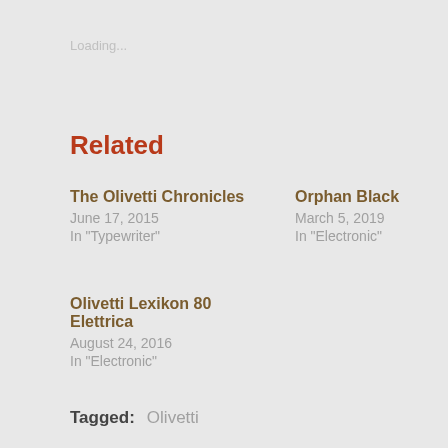Loading...
Related
The Olivetti Chronicles
June 17, 2015
In "Typewriter"
Orphan Black
March 5, 2019
In "Electronic"
Olivetti Lexikon 80 Elettrica
August 24, 2016
In "Electronic"
Tagged: Olivetti